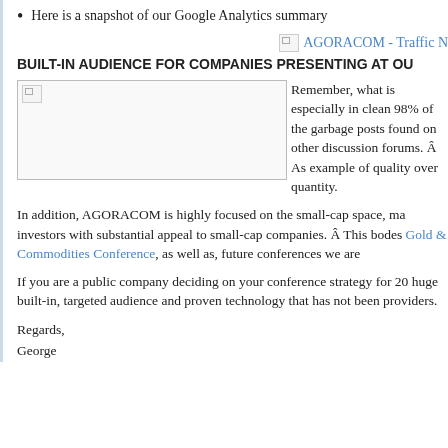Here is a snapshot of our Google Analytics summary
[Figure (screenshot): Broken image placeholder for AGORACOM - Traffic N... link/image in blue text]
BUILT-IN AUDIENCE FOR COMPANIES PRESENTING AT OUR
[Figure (photo): Broken image placeholder (large rectangle with broken image icon in top-left corner)]
Remember, what is especially in clean 98% of the garbage posts found on other discussion forums.  As example of quality over quantity.
In addition, AGORACOM is highly focused on the small-cap space, ma investors with substantial appeal to small-cap companies.  This bodes Gold & Commodities Conference, as well as, future conferences we are
If you are a public company deciding on your conference strategy for 20 huge built-in, targeted audience and proven technology that has not been providers.
Regards,
George